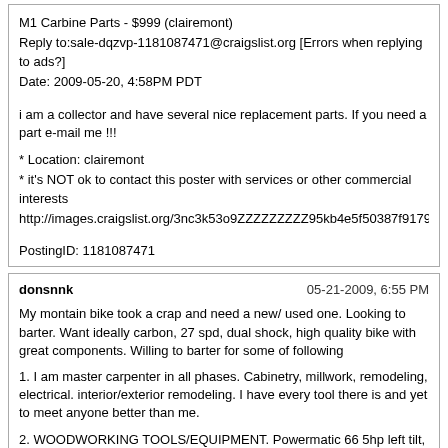M1 Carbine Parts - $999 (clairemont)
Reply to:sale-dqzvp-1181087471@craigslist.org [Errors when replying to ads?]
Date: 2009-05-20, 4:58PM PDT
i am a collector and have several nice replacement parts. If you need a part e-mail me !!!
* Location: clairemont
* it's NOT ok to contact this poster with services or other commercial interests
http://images.craigslist.org/3nc3k53o9ZZZZZZZZZ95kb4e5f50387f91793.jpghttp://ima
PostingID: 1181087471
donsnnk	05-21-2009, 6:55 PM
My montain bike took a crap and need a new/ used one. Looking to barter. Want ideally carbon, 27 spd, dual shock, high quality bike with great components. Willing to barter for some of following
1. I am master carpenter in all phases. Cabinetry, millwork, remodeling, electrical. interior/exterior remodeling. I have every tool there is and yet to meet anyone better than me.
2. WOODWORKING TOOLS/EQUIPMENT. Powermatic 66 5hp left tilt, 52" fence with very nice 4' by 8' outfeed and sled, like new. Delta DJ20 8" longbed jointer, 220v, mobile base, perfectly calibrated. Rikon 18" 220v band saw, mobile base. AWESOME tool at $800 it is same price as 14" delta and blows it out of water, like new. Northstart 80 gal 5 hp 220v compressor. Dewalt 12" dual compund slidesaw. Airmec fiiish compressor, very quiet. Hitachi hr92c framing gun.
3. Beautiful numbered Ludmilia Kondakova seriograph.Framed in cherry toned birdseye maple and linen matting. Currently valued at $3100. Sacrifice at $1800 or for very nice bike.
4. Appliances: 42" all stainless GE Monogram built-in fridge. LIKE NEW!! New...